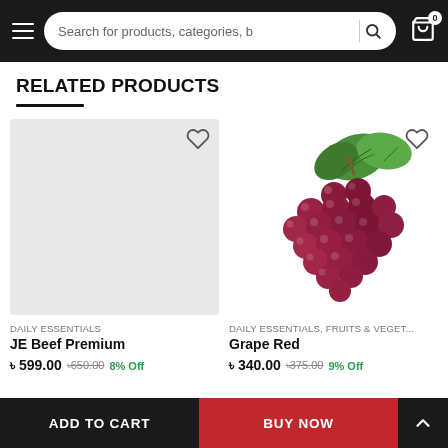Search for products, categories, b
RELATED PRODUCTS
[Figure (photo): Empty grey product image placeholder with heart/wishlist icon in top right corner]
DAILY ESSENTIALS
JE Beef Premium
৳ 599.00  ৳650.00  8% Off
[Figure (photo): Bunch of red grapes with green leaves on white background, with heart/wishlist icon in top right corner]
DAILY ESSENTIALS, FRUITS & VEGET...
Grape Red
৳ 340.00  ৳375.00  9% Off
ADD TO CART    BUY NOW